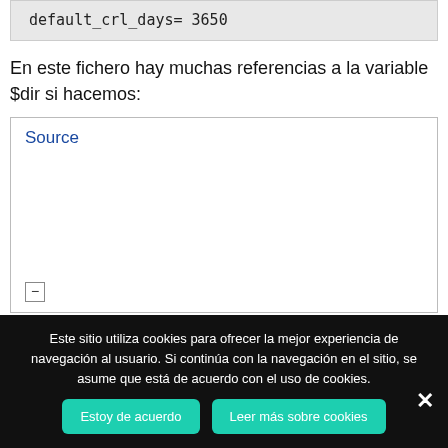default_crl_days= 3650
En este fichero hay muchas referencias a la variable $dir si hacemos:
[Figure (screenshot): A code editor box with a blue 'Source' link and a minus/collapse button at the bottom left.]
Este sitio utiliza cookies para ofrecer la mejor experiencia de navegación al usuario. Si continúa con la navegación en el sitio, se asume que está de acuerdo con el uso de cookies.
Estoy de acuerdo
Leer más sobre cookies